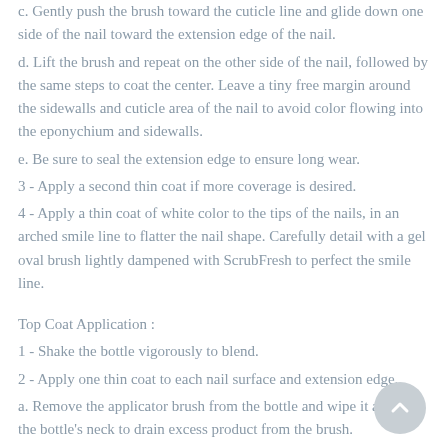c. Gently push the brush toward the cuticle line and glide down one side of the nail toward the extension edge of the nail.
d. Lift the brush and repeat on the other side of the nail, followed by the same steps to coat the center. Leave a tiny free margin around the sidewalls and cuticle area of the nail to avoid color flowing into the eponychium and sidewalls.
e. Be sure to seal the extension edge to ensure long wear.
3 - Apply a second thin coat if more coverage is desired.
4 - Apply a thin coat of white color to the tips of the nails, in an arched smile line to flatter the nail shape. Carefully detail with a gel oval brush lightly dampened with ScrubFresh to perfect the smile line.
Top Coat Application :
1 - Shake the bottle vigorously to blend.
2 - Apply one thin coat to each nail surface and extension edge.
a. Remove the applicator brush from the bottle and wipe it against the bottle's neck to drain excess product from the brush.